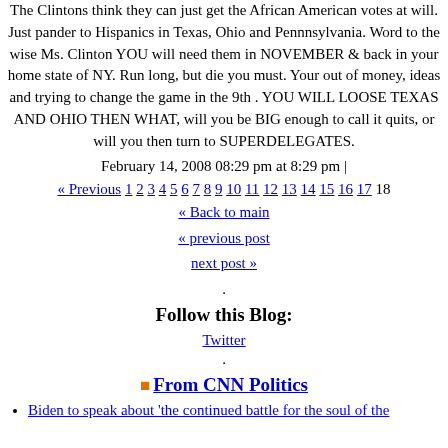The Clintons think they can just get the African American votes at will. Just pander to Hispanics in Texas, Ohio and Pennnsylvania. Word to the wise Ms. Clinton YOU will need them in NOVEMBER & back in your home state of NY. Run long, but die you must. Your out of money, ideas and trying to change the game in the 9th . YOU WILL LOOSE TEXAS AND OHIO THEN WHAT, will you be BIG enough to call it quits, or will you then turn to SUPERDELEGATES.
February 14, 2008 08:29 pm at 8:29 pm |
« Previous 1 2 3 4 5 6 7 8 9 10 11 12 13 14 15 16 17 18
« Back to main
« previous post
next post »
.
Follow this Blog:
Twitter
.
From CNN Politics
Biden to speak about 'the continued battle for the soul of the